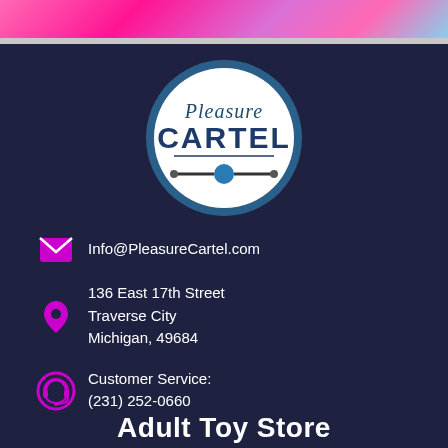[Figure (photo): Colorful blurred background image with pink/purple tones at the top of the page]
[Figure (logo): Pleasure Cartel circular logo with white background, dark blue text reading 'Pleasure CARTEL' with a decorative ball-gag accessory graphic below the text]
Info@PleasureCartel.com
136 East 17th Street
Traverse City
Michigan, 49684
Customer Service:
(231) 252-0660
Adult Toy Store